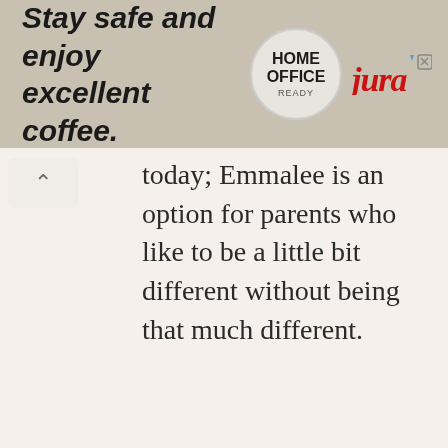[Figure (illustration): Advertisement banner with tan/beige background. Left side: italic bold text 'Stay safe and enjoy excellent coffee.' Right side: circular badge with text 'HOME OFFICE READY' and Jura brand logo in red italic script. Small triangular play/ad icon and X button in top right corner.]
today; Emmalee is an option for parents who like to be a little bit different without being that much different.